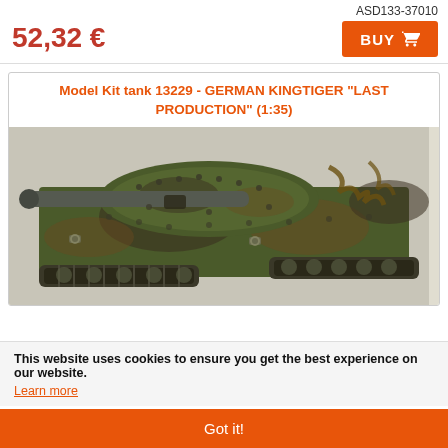ASD133-37010
52,32 €
BUY
Model Kit tank 13229 - GERMAN KINGTIGER "LAST PRODUCTION" (1:35)
[Figure (photo): Close-up photo of a painted 1:35 scale model kit of a German King Tiger tank, showing detailed camouflage painting in green and brown, with tank barrel, turret details, chains, and tracks visible.]
This website uses cookies to ensure you get the best experience on our website.
Learn more
Got it!